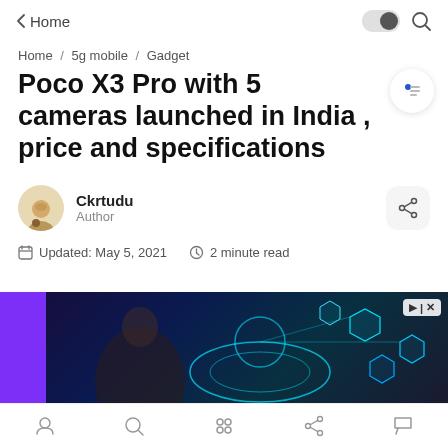Home
Home / 5g mobile / Gadget
Poco X3 Pro with 5 cameras launched in India , price and specifications
Ckrtudu
Author
Updated: May 5, 2021   2 minute read
[Figure (photo): Advertisement banner with a person and holographic tech elements on dark blue/purple background]